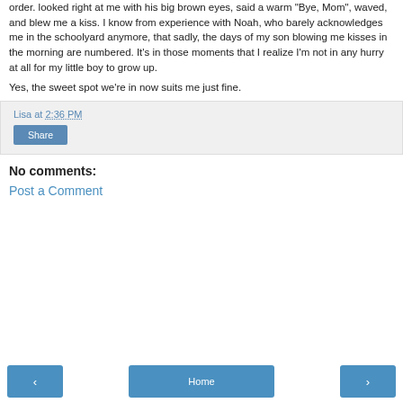order.  looked right at me with his big brown eyes, said a warm "Bye, Mom", waved, and blew me a kiss.  I know from experience with Noah, who barely acknowledges me in the schoolyard anymore, that sadly, the days of my son blowing me kisses in the morning are numbered.  It's in those moments that I realize I'm not in any hurry at all for my little boy to grow up.
Yes, the sweet spot we're in now suits me just fine.
Lisa at 2:36 PM
Share
No comments:
Post a Comment
< Home >